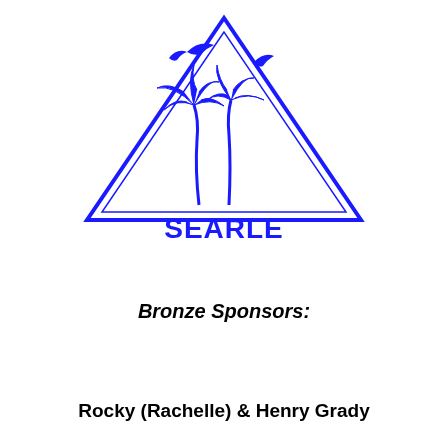[Figure (logo): Searle & Associates Insurance logo featuring a blue triangle with palm trees and dolphins, with text SEARLE & ASSOCIATES INSURANCE Palm City, Florida]
Bronze Sponsors:
Rocky (Rachelle) & Henry Grady